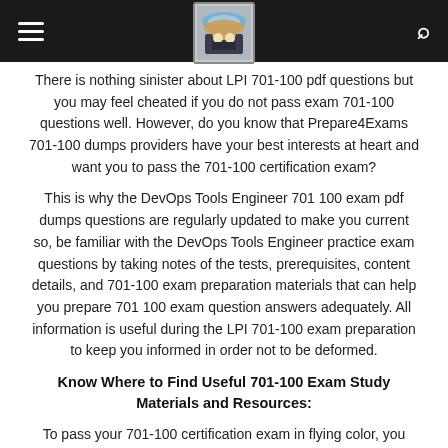Navigation bar with hamburger menu, logo image, and search icon
There is nothing sinister about LPI 701-100 pdf questions but you may feel cheated if you do not pass exam 701-100 questions well. However, do you know that Prepare4Exams 701-100 dumps providers have your best interests at heart and want you to pass the 701-100 certification exam?
This is why the DevOps Tools Engineer 701 100 exam pdf dumps questions are regularly updated to make you current so, be familiar with the DevOps Tools Engineer practice exam questions by taking notes of the tests, prerequisites, content details, and 701-100 exam preparation materials that can help you prepare 701 100 exam question answers adequately. All information is useful during the LPI 701-100 exam preparation to keep you informed in order not to be deformed.
Know Where to Find Useful 701-100 Exam Study Materials and Resources:
To pass your 701-100 certification exam in flying color, you must put in the work consistently before sitting for the 701 100 exam. You should also search for other resources, materials